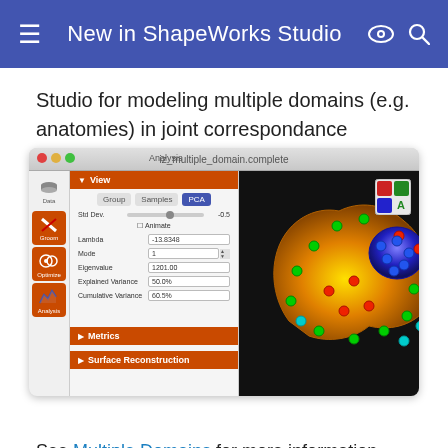New in ShapeWorks Studio
Studio for modeling multiple domains (e.g. anatomies) in joint correspondance model.
[Figure (screenshot): ShapeWorks Studio application screenshot showing the Analysis panel with View section open, tabs for Group/Samples/PCA, Std Dev slider at -0.5, Animate checkbox, Lambda value -13.8348, Mode 1, Eigenvalue 1201.00, Explained Variance 50.0%, Cumulative Variance 60.5%. Right panel shows 3D rendering of a golden/yellow anatomical shape with colored correspondence points (green, red, blue, cyan) on a black background. Two collapsed sections: Metrics and Surface Reconstruction. Bottom toolbar shows Reconstructed, Center, Viewers controls.]
See Multiple Domains for more information.